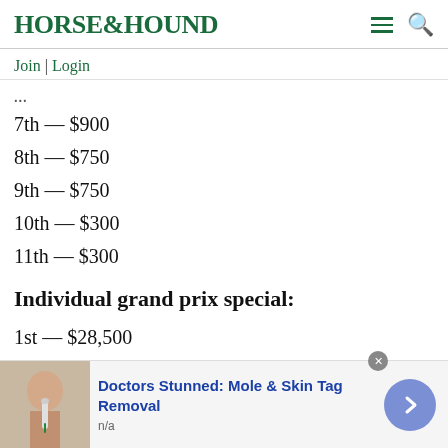HORSE&HOUND
Join | Login
7th — $900
8th — $750
9th — $750
10th — $300
11th — $300
Individual grand prix special:
1st — $28,500
[Figure (other): Advertisement banner: 'Doctors Stunned: Mole & Skin Tag Removal' with image of a person using a skincare device, n/a label, and a blue arrow button.]